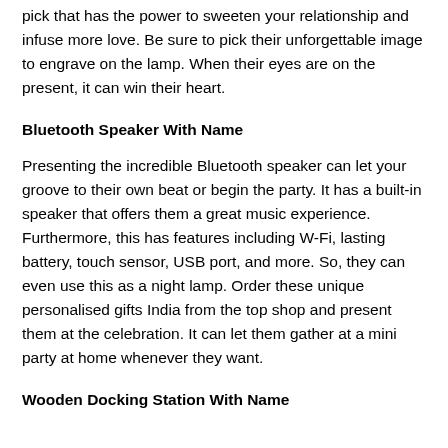pick that has the power to sweeten your relationship and infuse more love. Be sure to pick their unforgettable image to engrave on the lamp. When their eyes are on the present, it can win their heart.
Bluetooth Speaker With Name
Presenting the incredible Bluetooth speaker can let your groove to their own beat or begin the party. It has a built-in speaker that offers them a great music experience. Furthermore, this has features including W-Fi, lasting battery, touch sensor, USB port, and more. So, they can even use this as a night lamp. Order these unique personalised gifts India from the top shop and present them at the celebration. It can let them gather at a mini party at home whenever they want.
Wooden Docking Station With Name